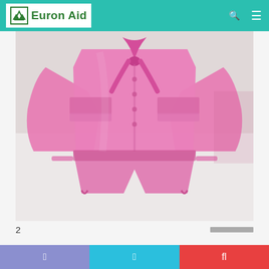Euron Aid
[Figure (photo): Pink women's clothing set (shirt/jacket with tie at waist and matching shorts) laid flat on a white surface, photographed from above.]
2
Navigation bar with three icons